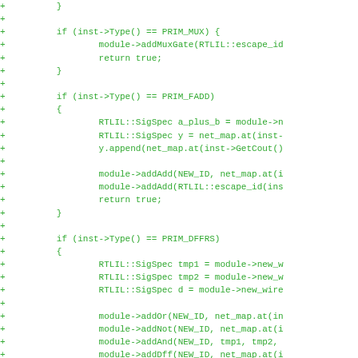[Figure (other): Diff/patch view of C++ source code showing added lines (marked with +) implementing logic for PRIM_MUX, PRIM_FADD, and PRIM_DFFRS primitive types using RTLIL module methods.]